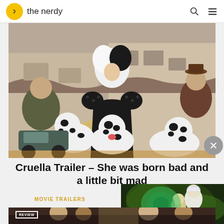the nerdy
[Figure (photo): Movie still from Cruella: a woman in a dramatic black-and-white costume with wild two-toned hair stands between three Dalmatian dogs. Two men stand in the background.]
Cruella Trailer – She was born bad and a little bit mad
MOVIE TRAILERS
[Figure (screenshot): Floating video widget showing Rick and Morty animated characters with text: NEW SEASONS OF RICK & MORTY WILL NOW RELEASE EVERY YEAR]
[Figure (photo): Bottom strip of a review article image showing people indoors, with a REVIEW badge overlay.]